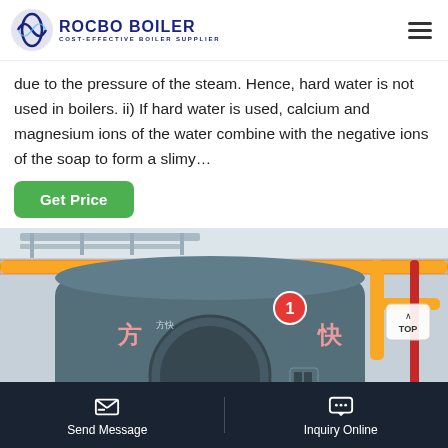ROCBO BOILER - COST-EFFECTIVE BOILER SUPPLIER
due to the pressure of the steam. Hence, hard water is not used in boilers. ii) If hard water is used, calcium and magnesium ions of the water combine with the negative ions of the soap to form a slimy…
[Figure (photo): Industrial boiler with yellow gas pipes and red pipe on the right side. A large grey cylindrical boiler unit with Chinese characters (方快) and a numbered red circle marker (1) is visible. Blue circular chat button overlay at the bottom center.]
Send Message | Inquiry Online